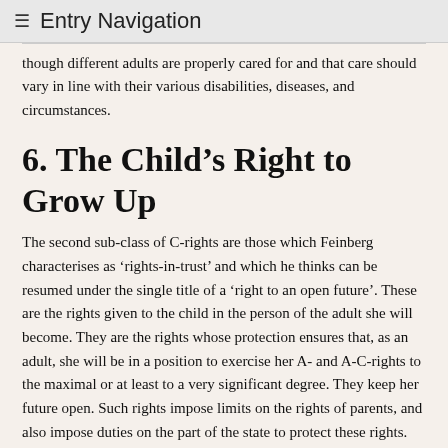≡ Entry Navigation
…though different adults are properly cared for and that care should vary in line with their various disabilities, diseases, and circumstances.
6. The Child's Right to Grow Up
The second sub-class of C-rights are those which Feinberg characterises as 'rights-in-trust' and which he thinks can be resumed under the single title of a 'right to an open future'. These are the rights given to the child in the person of the adult she will become. They are the rights whose protection ensures that, as an adult, she will be in a position to exercise her A- and A-C-rights to the maximal or at least to a very significant degree. They keep her future open. Such rights impose limits on the rights of parents, and also impose duties on the part of the state to protect these rights.
A couple of things are worth noting about these rights-in-trust. First, Feinberg refers to these C-rights as 'anticipatory autonomy rights', which might suggest that